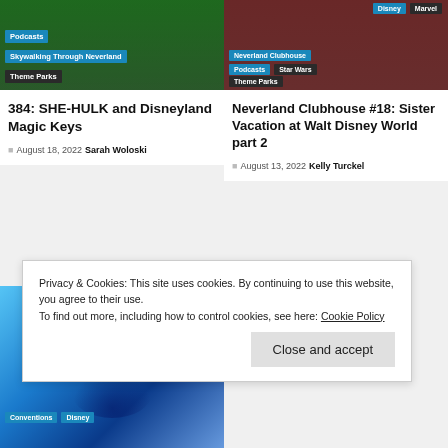[Figure (photo): Neverland themed park entrance with green foliage background. Tags: Podcasts, Skywalking Through Neverland, Theme Parks overlaid.]
[Figure (photo): People gathered, red clothing visible. Tags: Disney, Marvel, Neverland Clubhouse, Podcasts, Star Wars, Theme Parks overlaid.]
384: SHE-HULK and Disneyland Magic Keys
August 18, 2022  Sarah Woloski
Neverland Clubhouse #18: Sister Vacation at Walt Disney World part 2
August 13, 2022  Kelly Turckel
[Figure (photo): Blue glowing Mickey Mouse ears with light beams. Tags: Conventions, Disney overlaid at bottom.]
Privacy & Cookies: This site uses cookies. By continuing to use this website, you agree to their use.
To find out more, including how to control cookies, see here: Cookie Policy
Close and accept